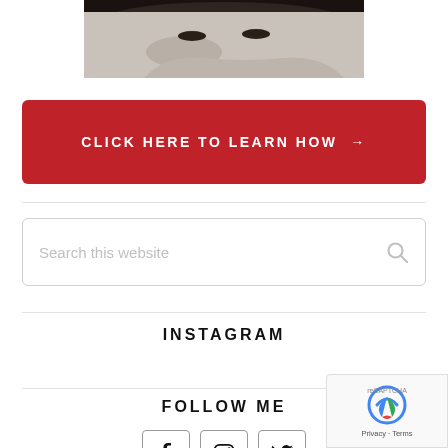[Figure (photo): Cropped black and white photo showing the top portion of a person's face with dark hair]
[Figure (other): Red call-to-action button with white uppercase text: CLICK HERE TO LEARN HOW →]
[Figure (other): Search input box with placeholder text: Search this website, and a search icon on the right]
INSTAGRAM
FOLLOW ME
[Figure (other): Three social media icon boxes showing Facebook, Instagram, and Twitter icons]
[Figure (other): reCAPTCHA privacy badge in bottom right corner with logo, Privacy and Terms text]